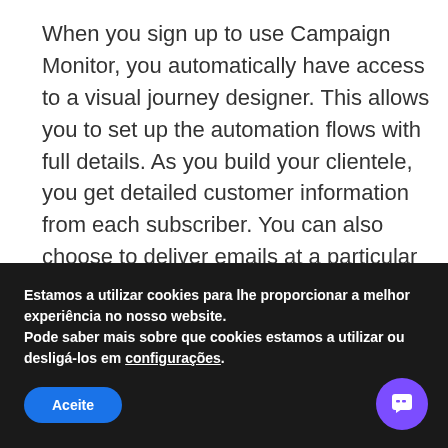When you sign up to use Campaign Monitor, you automatically have access to a visual journey designer. This allows you to set up the automation flows with full details. As you build your clientele, you get detailed customer information from each subscriber. You can also choose to deliver emails at a particular time to a specific person.
[Figure (screenshot): Screenshot of Campaign Monitor email marketing interface showing 'Create engaging email campaigns that get results.' text on the left, a middle panel with UI controls, and a right panel showing a countdown timer reading '02 13 05 53' with text 'Your mountain is waiting!']
Estamos a utilizar cookies para lhe proporcionar a melhor experiência no nosso website.
Pode saber mais sobre que cookies estamos a utilizar ou desligá-los em configurações.
Aceite